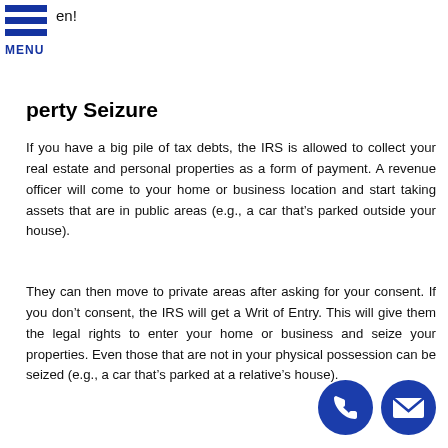en!
MENU
Property Seizure
If you have a big pile of tax debts, the IRS is allowed to collect your real estate and personal properties as a form of payment. A revenue officer will come to your home or business location and start taking assets that are in public areas (e.g., a car that's parked outside your house).
They can then move to private areas after asking for your consent. If you don't consent, the IRS will get a Writ of Entry. This will give them the legal rights to enter your home or business and seize your properties. Even those that are not in your physical possession can be seized (e.g., a car that's parked at a relative's house).
Reduced Tax Refunds
If you are receiving tax refunds from the municipality or the state of Lexington Park, the IRS can choose to hold them as payment for your tax debts. They can further